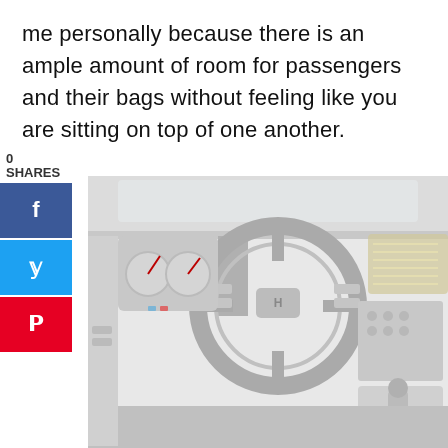me personally because there is an ample amount of room for passengers and their bags without feeling like you are sitting on top of one another.
[Figure (photo): Interior view of a Hyundai car showing the steering wheel with logo, dashboard, instrument cluster, center console with gear shift, and infotainment screen. The image has a washed-out, light gray tone.]